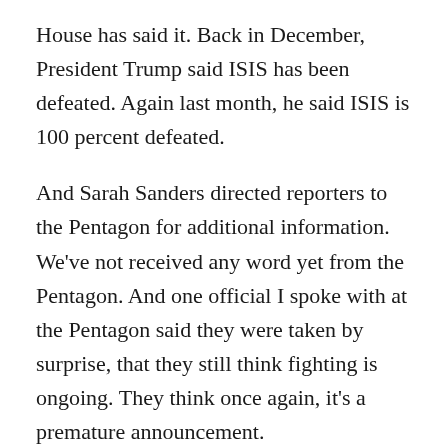House has said it. Back in December, President Trump said ISIS has been defeated. Again last month, he said ISIS is 100 percent defeated.
And Sarah Sanders directed reporters to the Pentagon for additional information. We've not received any word yet from the Pentagon. And one official I spoke with at the Pentagon said they were taken by surprise, that they still think fighting is ongoing. They think once again, it's a premature announcement.
And finally, there's a CNN reporter outside of Baguz. He says he's actually hearing fighting, seeing fighting. And there are illumination rounds coming down. They're used to give troops a sense of where the enemy locations are.
CHANG: So, how about being a disintegrated ISIS b...